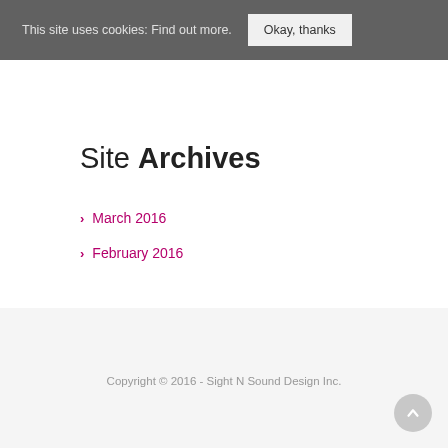This site uses cookies: Find out more. Okay, thanks
Site Archives
March 2016
February 2016
Copyright © 2016 - Sight N Sound Design Inc.